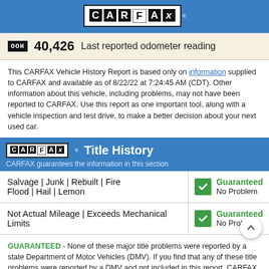CARFAX
40,426 Last reported odometer reading
This CARFAX Vehicle History Report is based only on information supplied to CARFAX and available as of 8/22/22 at 7:24:45 AM (CDT). Other information about this vehicle, including problems, may not have been reported to CARFAX. Use this report as one important tool, along with a vehicle inspection and test drive, to make a better decision about your next used car.
CARFAX Title History
CARFAX guarantees the information in this section
| Category | Status |
| --- | --- |
| Salvage | Junk | Rebuilt | Fire Flood | Hail | Lemon | Guaranteed No Problem |
| Not Actual Mileage | Exceeds Mechanical Limits | Guaranteed No Problem |
GUARANTEED - None of these major title problems were reported by a state Department of Motor Vehicles (DMV). If you find that any of these title problems were reported by a DMV and not included in this report, CARFAX will buy this vehicle back. View Terms
CARFAX Additional History